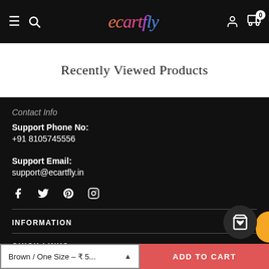ecartfly — navigation header with hamburger, search, logo, account, and cart (0)
Recently Viewed Products
Contact Info
Support Phone No:
+91 8105745556
Support Email:
support@ecartfly.in
[Figure (other): Social media icons: Facebook, Twitter, Pinterest, Instagram]
INFORMATION
QUICK LINKS
Brown / One Size – ₹ 5...  ADD TO CART